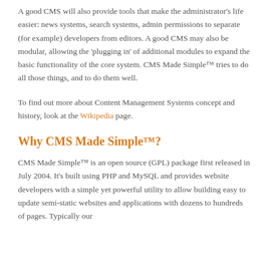A good CMS will also provide tools that make the administrator's life easier: news systems, search systems, admin permissions to separate (for example) developers from editors. A good CMS may also be modular, allowing the 'plugging in' of additional modules to expand the basic functionality of the core system. CMS Made Simple™ tries to do all those things, and to do them well.
To find out more about Content Management Systems concept and history, look at the Wikipedia page.
Why CMS Made Simple™?
CMS Made Simple™ is an open source (GPL) package first released in July 2004. It's built using PHP and MySQL and provides website developers with a simple yet powerful utility to allow building easy to update semi-static websites and applications with dozens to hundreds of pages. Typically our